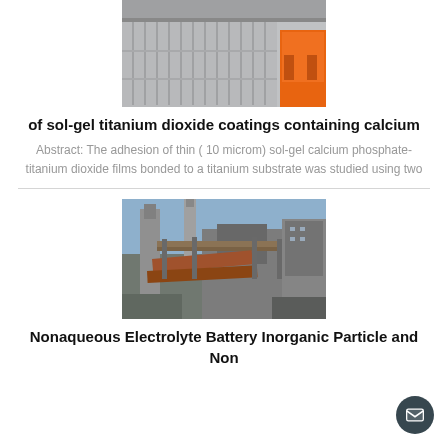[Figure (photo): Industrial or warehouse facility with stacked items visible and orange equipment]
of sol-gel titanium dioxide coatings containing calcium
Abstract: The adhesion of thin ( 10 microm) sol-gel calcium phosphate-titanium dioxide films bonded to a titanium substrate was studied using two
[Figure (photo): Industrial chemical plant or factory exterior with large pipes, towers, and infrastructure]
Nonaqueous Electrolyte Battery Inorganic Particle and Non